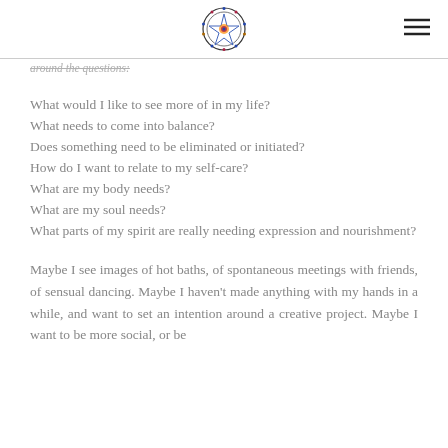[Logo] [Hamburger menu]
around the questions:
What would I like to see more of in my life?
What needs to come into balance?
Does something need to be eliminated or initiated?
How do I want to relate to my self-care?
What are my body needs?
What are my soul needs?
What parts of my spirit are really needing expression and nourishment?
Maybe I see images of hot baths, of spontaneous meetings with friends, of sensual dancing. Maybe I haven't made anything with my hands in a while, and want to set an intention around a creative project. Maybe I want to be more social, or be